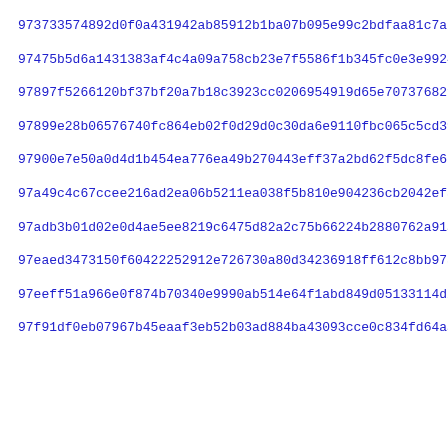973733574892d0f0a431942ab85912b1ba07b095e99c2bdfaa81c7ab4bec0...
97475b5d6a1431383af4c4a09a758cb23e7f5586f1b345fc0e3e9924e371e...
97897f5266120bf37bf20a7b18c3923cc02069549l9d65e707376821d7558...
97899e28b06576740fc864eb02f0d29d0c30da6e9110fbc065c5cd395ef03...
97900e7e50a0d4d1b454ea776ea49b270443eff37a2bd62f5dc8fe67d1248...
97a49c4c67ccee216ad2ea06b5211ea038f5b810e904236cb2042ef547c9e...
97adb3b01d02e0d4ae5ee8219c6475d82a2c75b66224b2880762a91a0ca1e...
97eaed3473150f60422252912e726730a80d34236918ff612c8bb97587efb0...
97eeff51a966e0f874b70340e9990ab514e64f1abd849d05133114d29903c...
97f91df0eb07967b45eaaf3eb52b03ad884ba43093cce0c834fd64aae22ea...